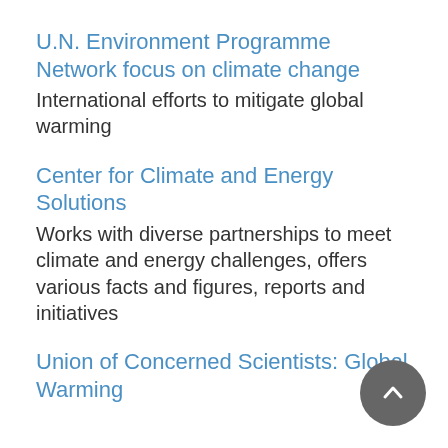U.N. Environment Programme Network focus on climate change
International efforts to mitigate global warming
Center for Climate and Energy Solutions
Works with diverse partnerships to meet climate and energy challenges, offers various facts and figures, reports and initiatives
Union of Concerned Scientists: Global Warming